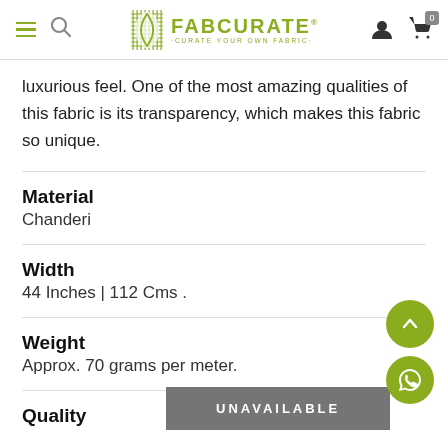FabCurate - Curate Your Own Fabric
luxurious feel. One of the most amazing qualities of this fabric is its transparency, which makes this fabric so unique.
Material
Chanderi
Width
44 Inches | 112 Cms .
Weight
Approx. 70 grams per meter.
Quality
UNAVAILABLE